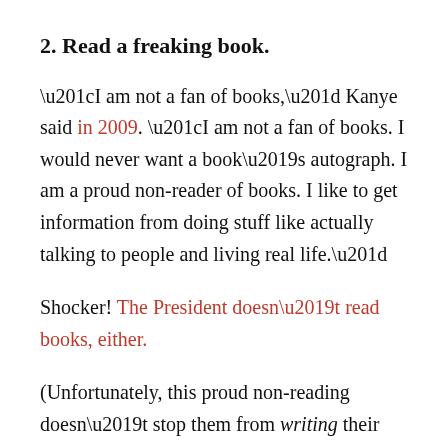2. Read a freaking book.
“I am not a fan of books,” Kanye said in 2009. “I am not a fan of books. I would never want a book’s autograph. I am a proud non-reader of books. I like to get information from doing stuff like actually talking to people and living real life.”
Shocker! The President doesn’t read books, either.
(Unfortunately, this proud non-reading doesn’t stop them from writing their own books.)